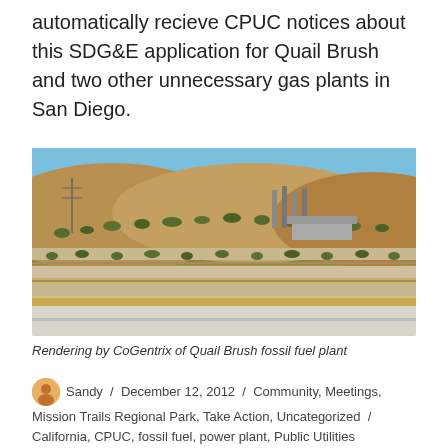automatically recieve CPUC notices about this SDG&E application for Quail Brush and two other unnecessary gas plants in San Diego.
[Figure (photo): Rendering by CoGentrix of Quail Brush fossil fuel plant — photo showing an industrial gas plant facility built into a hillside in a dry, arid landscape with retaining walls and industrial stacks visible.]
Rendering by CoGentrix of Quail Brush fossil fuel plant
Sandy / December 12, 2012 / Community, Meetings, Mission Trails Regional Park, Take Action, Uncategorized / California, CPUC, fossil fuel, power plant, Public Utilities